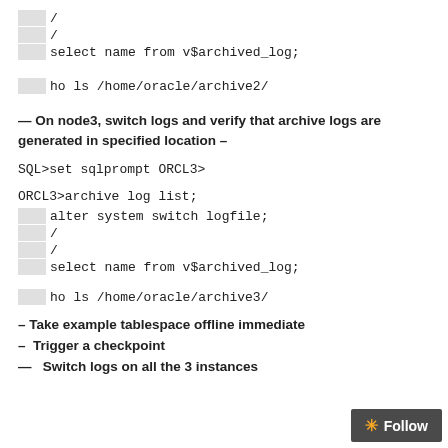/
/
select name from v$archived_log;
ho ls /home/oracle/archive2/
— On node3, switch logs and verify that archive logs are generated in specified location –
SQL>set sqlprompt ORCL3>
ORCL3>archive log list;
alter system switch logfile;
/
/
select name from v$archived_log;
ho ls /home/oracle/archive3/
– Take example tablespace offline immediate
–  Trigger a checkpoint
—   Switch logs on all the 3 instances